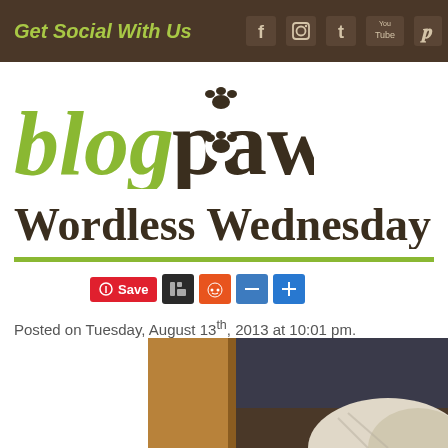Get Social With Us
[Figure (logo): BlogPaws logo — 'blog' in olive green italic and 'paws' in dark brown with a paw print replacing the letter 'a']
Wordless Wednesday
[Figure (screenshot): Social sharing buttons: Pinterest Save, Digg, Reddit, Minus, Plus]
Posted on Tuesday, August 13th, 2013 at 10:01 pm.
[Figure (photo): Partial photo showing a wooden furniture piece and a blurry cat with white/grey fur in the lower right corner]